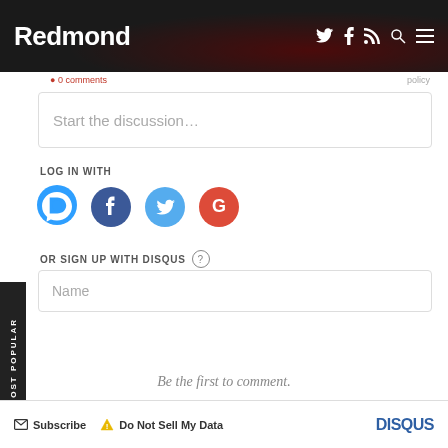Redmond
Start the discussion…
LOG IN WITH
[Figure (illustration): Social login icons: Disqus (blue speech bubble with D), Facebook (dark blue circle with f), Twitter (light blue circle with bird), Google (red circle with G)]
OR SIGN UP WITH DISQUS ?
Name
Be the first to comment.
Subscribe  Do Not Sell My Data  DISQUS